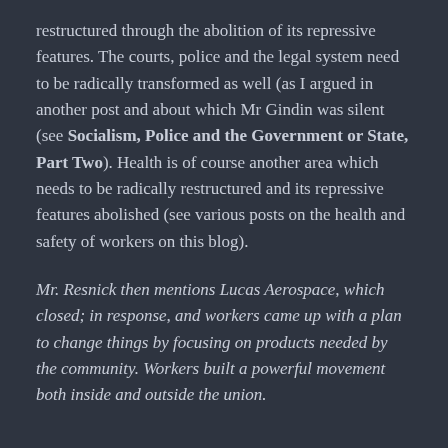restructured through the abolition of its repressive features. The courts, police and the legal system need to be radically transformed as well (as I argued in another post and about which Mr Gindin was silent (see Socialism, Police and the Government or State, Part Two). Health is of course another area which needs to be radically restructured and its repressive features abolished (see various posts on the health and safety of workers on this blog).
Mr. Resnick then mentions Lucas Aerospace, which closed; in response,  and workers came up with a plan to change things by focusing on products needed by the community. Workers built a powerful movement both inside and outside the union.